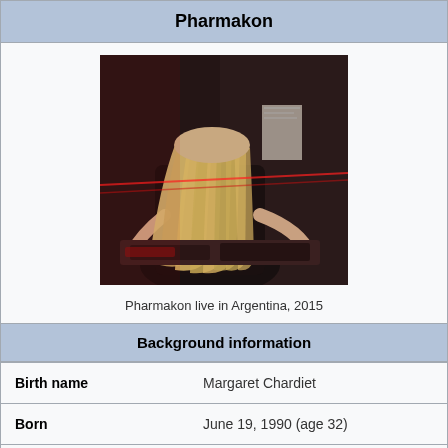Pharmakon
[Figure (photo): Pharmakon performing live, person with long blonde hair bending forward over equipment, red laser lights in a dark venue]
Pharmakon live in Argentina, 2015
Background information
| Birth name | Margaret Chardiet |
| Born | June 19, 1990 (age 32) |
| Origin | New York City, U.S. |
| Genres | Industrial • noise |